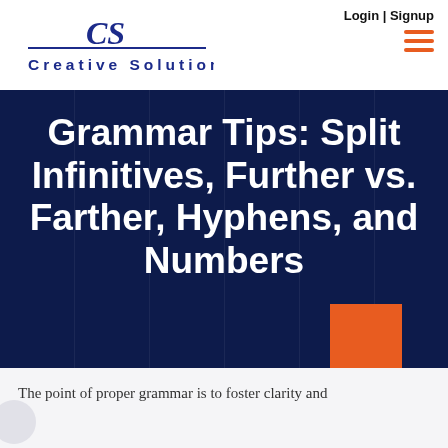Login | Signup
[Figure (logo): Creative Solutions logo with stylized CS monogram in blue serif italic, underlined text 'Creative Solutions' in blue spaced capitals]
Grammar Tips: Split Infinitives, Further vs. Farther, Hyphens, and Numbers
The point of proper grammar is to foster clarity and